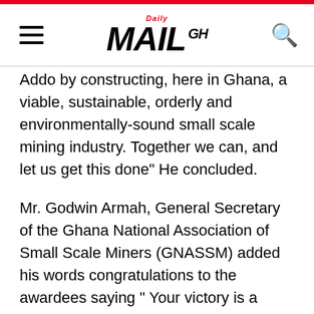Daily MAIL GH
Addo by constructing, here in Ghana, a viable, sustainable, orderly and environmentally-sound small scale mining industry. Together we can, and let us get this done” He concluded.
Mr. Godwin Armah, General Secretary of the Ghana National Association of Small Scale Miners (GNASSM) added his words congratulations to the awardees saying " Your victory is a symbol of the true reflection of our work and telling the whole world that Ghana is on course to revitalise the Small Scale Mining sector”
He thanked the organisers of the programme and  advised miners that acquiring mining licences for their operations alone will not keep them in the industry but rather compliance